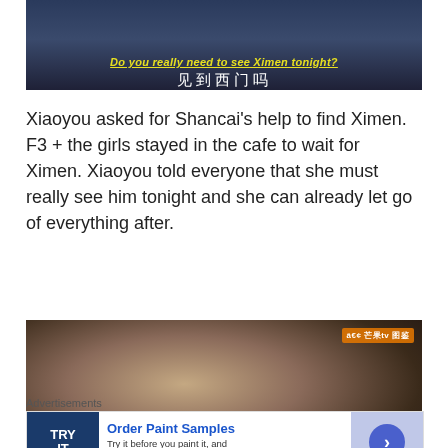[Figure (screenshot): Video screenshot with yellow English subtitle 'Do you really need to see Ximen tonight?' and white Chinese subtitle '见到西门吗']
Xiaoyou asked for Shancai's help to find Ximen. F3 + the girls stayed in the cafe to wait for Ximen. Xiaoyou told everyone that she must really see him tonight and she can already let go of everything after.
[Figure (screenshot): Video screenshot of a young Asian man in a blue turtleneck and dark jacket, with a watermark '芒果tv' in upper right corner]
Advertisements
[Figure (screenshot): Advertisement: 'Order Paint Samples - Try it before you paint it, and you'll be sure to love it.' with TRY IT logo on left and blue arrow button on right]